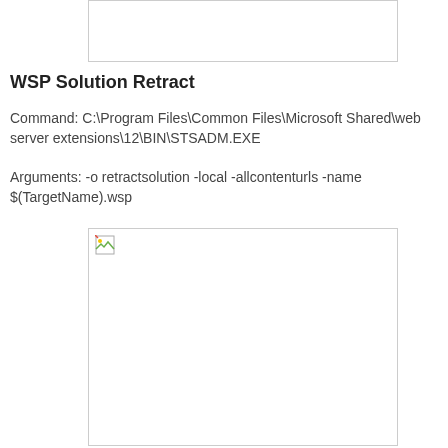[Figure (screenshot): Top image placeholder box with border, image broken/missing]
WSP Solution Retract
Command: C:\Program Files\Common Files\Microsoft Shared\web server extensions\12\BIN\STSADM.EXE
Arguments: -o retractsolution -local -allcontenturls -name $(TargetName).wsp
[Figure (screenshot): Bottom image placeholder box with border and broken image icon in top-left corner]